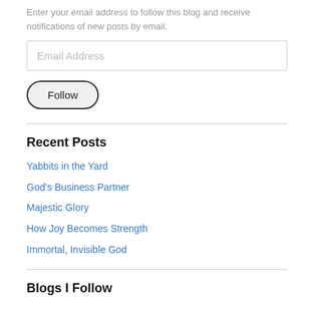Enter your email address to follow this blog and receive notifications of new posts by email.
Email Address
Follow
Recent Posts
Yabbits in the Yard
God's Business Partner
Majestic Glory
How Joy Becomes Strength
Immortal, Invisible God
Blogs I Follow